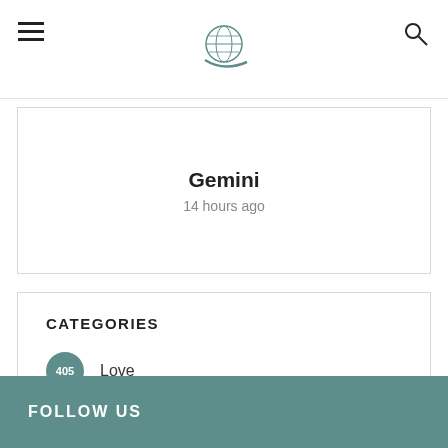Gemini
14 hours ago
CATEGORIES
405 Love
5 Personality
679 Relationship
3650 Zodiac
FOLLOW US